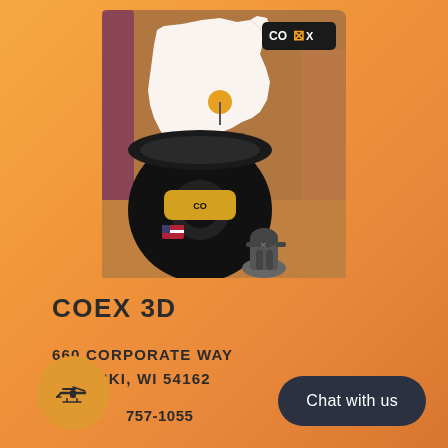[Figure (photo): Product photo showing a black 3D printing filament spool with COEX branding, a small 3D printed figure, and a white Wisconsin state map with location pin showing PULASKI, WI. COEX logo box in top right corner. Background shows colorful filament spools.]
COEX 3D
660 CORPORATE WAY
PULASKI, WI 54162
757-1055
Chat with us